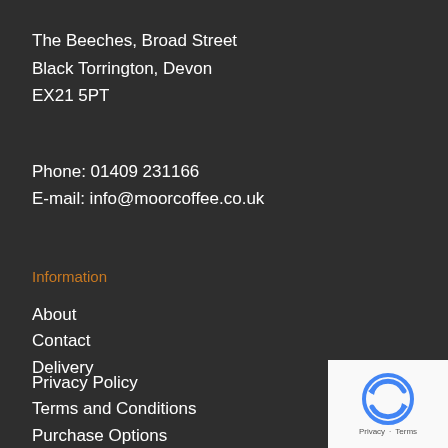The Beeches, Broad Street
Black Torrington, Devon
EX21 5PT
Phone: 01409 231166
E-mail: info@moorcoffee.co.uk
Information
About
Contact
Delivery
Privacy Policy
Terms and Conditions
Purchase Options
[Figure (other): reCAPTCHA widget with logo and Privacy/Terms links]